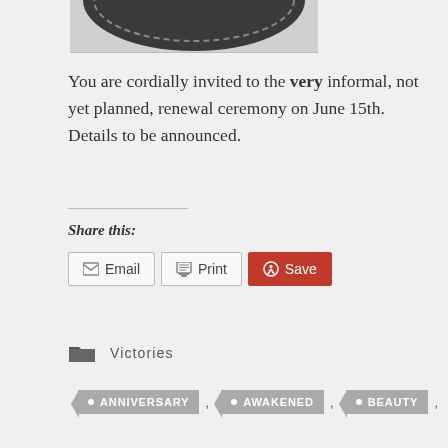[Figure (illustration): Partial view of a circular badge/stamp logo at the top of the page]
You are cordially invited to the very informal, not yet planned, renewal ceremony on June 15th. Details to be announced.
Share this:
Email  Print  Save
Victories
ANNIVERSARY , AWAKENED , BEAUTY ,